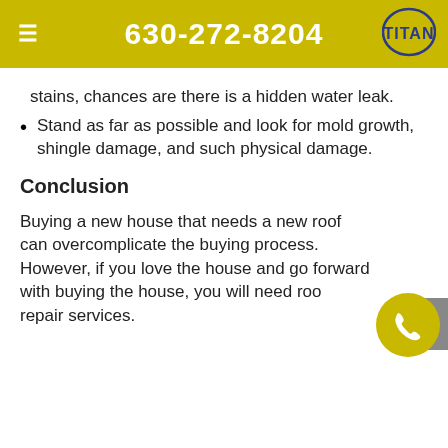630-272-8204
stains, chances are there is a hidden water leak.
Stand as far as possible and look for mold growth, shingle damage, and such physical damage.
Conclusion
Buying a new house that needs a new roof can overcomplicate the buying process. However, if you love the house and go forward with buying the house, you will need roof repair services.